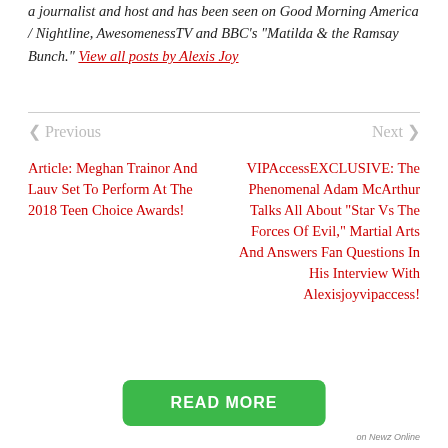a journalist and host and has been seen on Good Morning America / Nightline, AwesomenessTV and BBC's "Matilda & the Ramsay Bunch." View all posts by Alexis Joy
Previous
Next
Article: Meghan Trainor And Lauv Set To Perform At The 2018 Teen Choice Awards!
VIPAccessEXCLUSIVE: The Phenomenal Adam McArthur Talks All About “Star Vs The Forces Of Evil,” Martial Arts And Answers Fan Questions In His Interview With Alexisjoyvipaccess!
READ MORE
on Newz Online